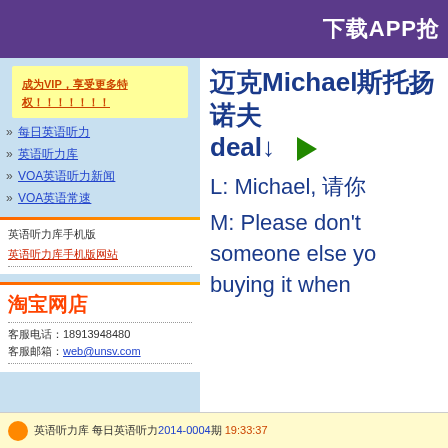下载APP抢
成为VIP，享受更多特权！！！！！！！
» 每日英语听力
» 英语听力库
» VOA英语听力新闻
» VOA英语常速
英语听力库手机版
英语听力库手机版网站
淘宝网店
客服电话：18913948480
客服邮箱：web@unsv.com
迈克尔Michael斯托扬诺夫 deal↓ ▶
L: Michael, 请你
M: Please don't someone else yo buying it when
英语听力库 每日英语听力2014-0004期 19:33:37